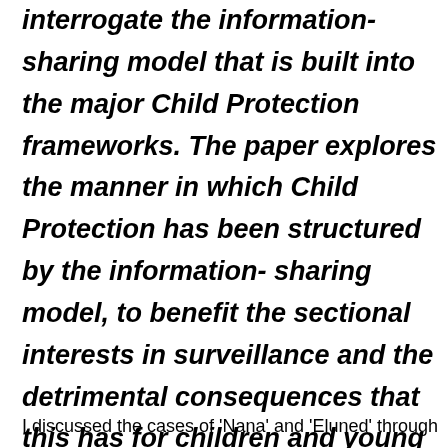interrogate the information-sharing model that is built into the major Child Protection frameworks. The paper explores the manner in which Child Protection has been structured by the information- sharing model, to benefit the sectional interests in surveillance and the detrimental consequences that this has for children and young people.
I discussed the cases of 'Nana' and 'Eluned' through